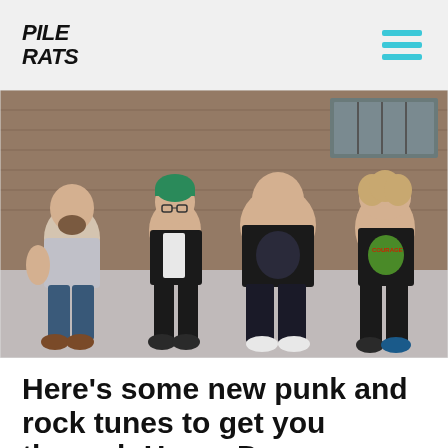PILE RATS
[Figure (photo): Four young men sitting casually on the ground against a brick wall, smiling. From left to right: man with beard and tattoos in grey shirt and jeans with boots; man with green beanie and glasses in dark jacket; larger man in black graphic t-shirt; man with long curly hair in a Courage band t-shirt.]
Here's some new punk and rock tunes to get you through Hump Day